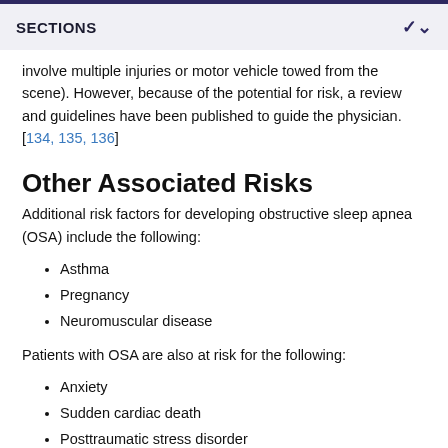SECTIONS
involve multiple injuries or motor vehicle towed from the scene). However, because of the potential for risk, a review and guidelines have been published to guide the physician. [134, 135, 136]
Other Associated Risks
Additional risk factors for developing obstructive sleep apnea (OSA) include the following:
Asthma
Pregnancy
Neuromuscular disease
Patients with OSA are also at risk for the following:
Anxiety
Sudden cardiac death
Posttraumatic stress disorder